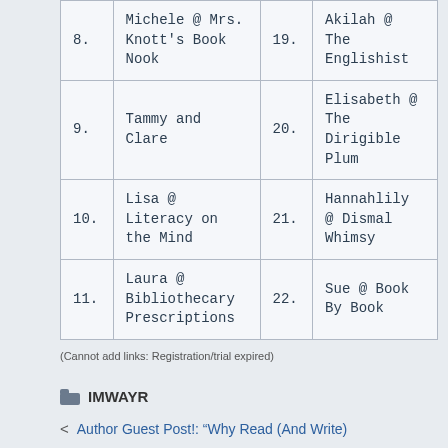| # | Name | # | Name |
| --- | --- | --- | --- |
| 8. | Michele @ Mrs. Knott's Book Nook | 19. | Akilah @ The Englishist |
| 9. | Tammy and Clare | 20. | Elisabeth @ The Dirigible Plum |
| 10. | Lisa @ Literacy on the Mind | 21. | Hannahlily @ Dismal Whimsy |
| 11. | Laura @ Bibliothecary Prescriptions | 22. | Sue @ Book By Book |
(Cannot add links: Registration/trial expired)
IMWAYR
< Author Guest Post!: "Why Read (And Write)